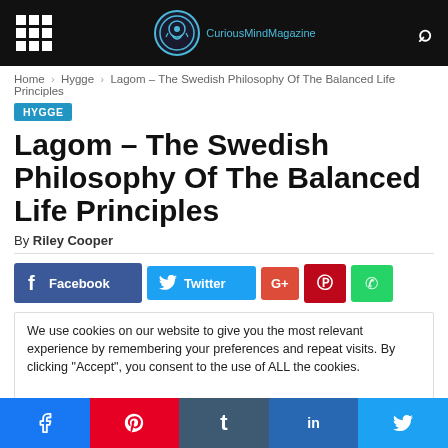CuriousMindMagazine
Home > Hygge > Lagom – The Swedish Philosophy Of The Balanced Life Principles
HYGGE
Lagom – The Swedish Philosophy Of The Balanced Life Principles
By Riley Cooper
[Figure (screenshot): Social share buttons: Facebook, Twitter, Google+, Pinterest, WhatsApp]
We use cookies on our website to give you the most relevant experience by remembering your preferences and repeat visits. By clicking "Accept", you consent to the use of ALL the cookies.
Do not sell my personal information.
[Figure (screenshot): Cookie consent buttons: reject (grey) and accept (green)]
[Figure (screenshot): Bottom social share bar with Facebook, Pinterest, Tumblr, LinkedIn, Twitter icons]